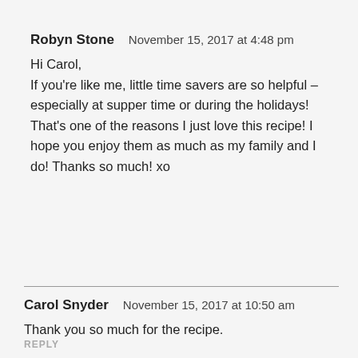Robyn Stone   November 15, 2017 at 4:48 pm
Hi Carol,
If you're like me, little time savers are so helpful – especially at supper time or during the holidays! That's one of the reasons I just love this recipe! I hope you enjoy them as much as my family and I do! Thanks so much! xo
Carol Snyder   November 15, 2017 at 10:50 am
Thank you so much for the recipe.
REPLY